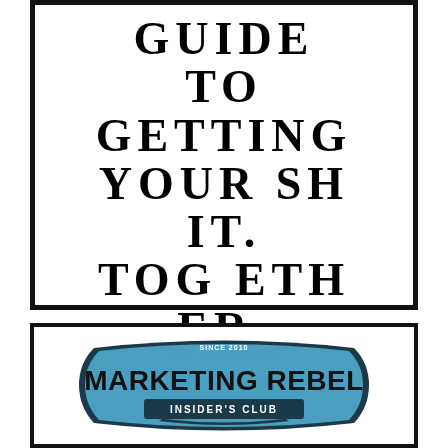[Figure (illustration): Book cover with thick black border. Title text reads: GUIDE TO GETTING YOUR SHIT. TOGETHER. with ornamental divider and 'Volume One' in italic. Author name 'John Carlton' in red below.]
[Figure (logo): Marketing Rebel Insider's Club logo — blue shield/badge shape with 'SINCE 2010' at top, 'MARKETING REBEL' in large bold black text, 'INSIDER'S CLUB' in a banner below, dark teal/navy border.]